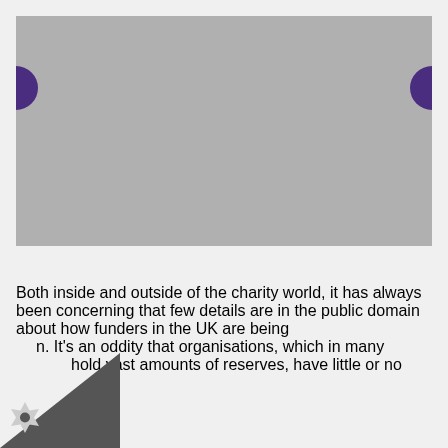[Figure (photo): Gray placeholder image area with purple navigation tabs on left and right sides]
Both inside and outside of the charity world, it has always been concerning that few details are in the public domain about how funders in the UK are being [run]. It's an oddity that organisations, which in many [cases] hold vast amounts of reserves, have little or no